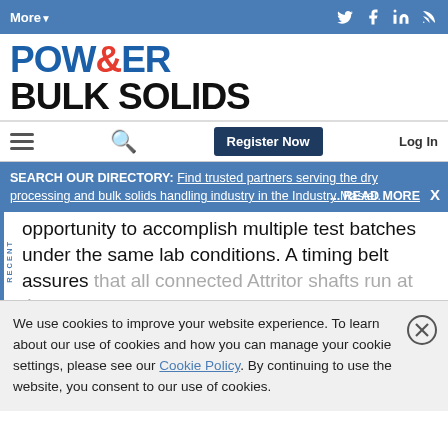More▼
POWDER & BULK SOLIDS
[Figure (screenshot): Navigation bar with hamburger menu, search icon, Register Now button, and Log In link]
SEARCH OUR DIRECTORY: Find trusted partners serving the dry processing and bulk solids handling industry in the Industry Master. ... READ MORE X
opportunity to accomplish multiple test batches under the same lab conditions. A timing belt assures that all connected Attritor shafts run at the same
We use cookies to improve your website experience. To learn about our use of cookies and how you can manage your cookie settings, please see our Cookie Policy. By continuing to use the website, you consent to our use of cookies.